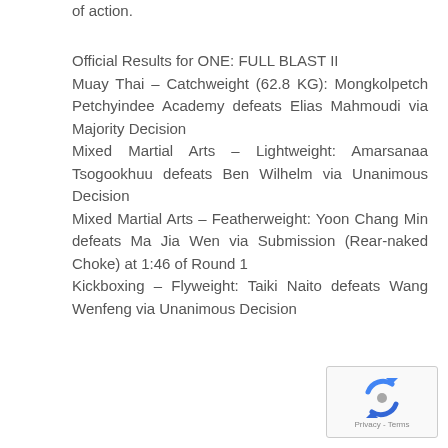of action.
Official Results for ONE: FULL BLAST II
Muay Thai – Catchweight (62.8 KG): Mongkolpetch Petchyindee Academy defeats Elias Mahmoudi via Majority Decision
Mixed Martial Arts – Lightweight: Amarsanaa Tsogookhuu defeats Ben Wilhelm via Unanimous Decision
Mixed Martial Arts – Featherweight: Yoon Chang Min defeats Ma Jia Wen via Submission (Rear-naked Choke) at 1:46 of Round 1
Kickboxing – Flyweight: Taiki Naito defeats Wang Wenfeng via Unanimous Decision
[Figure (logo): reCAPTCHA logo with Privacy and Terms text]